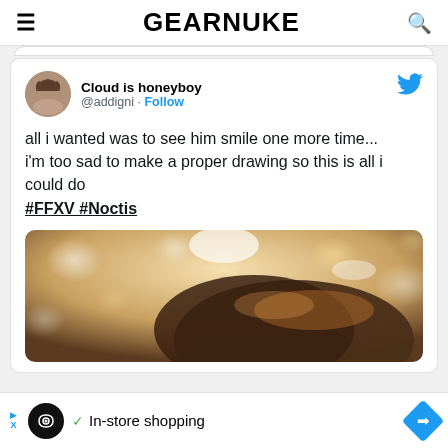GEARNUKE
[Figure (screenshot): Tweet from Cloud is honeyboy (@addigni) with text: all i wanted was to see him smile one more time... i'm too sad to make a proper drawing so this is all i could do #FFXV #Noctis, with an image of a character's hair/head from behind with bokeh lighting]
all i wanted was to see him smile one more time... i'm too sad to make a proper drawing so this is all i could do #FFXV #Noctis
✓ In-store shopping